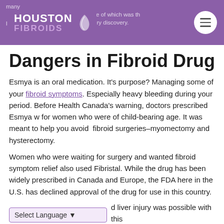Houston Fibroids — many different options. One of which was the popular fibroid this new injury discovery.
Dangers in Fibroid Drug
Esmya is an oral medication. It's purpose? Managing some of your fibroid symptoms. Especially heavy bleeding during your period. Before Health Canada's warning, doctors prescribed Esmya w for women who were of child-bearing age. It was meant to help you avoid fibroid surgeries–myomectomy and hysterectomy.
Women who were waiting for surgery and wanted fibroid symptom relief also used Fibristal. While the drug has been widely prescribed in Canada and Europe, the FDA here in the U.S. has declined approval of the drug for use in this country.
Select Language ▾  ...d liver injury was possible with this